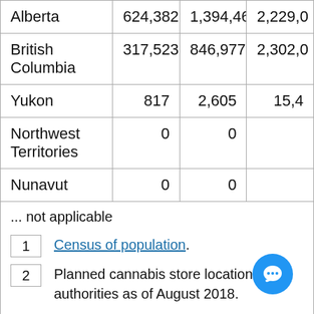| Province/Territory | Col1 | Col2 | Col3 |
| --- | --- | --- | --- |
| Alberta | 624,382 | 1,394,464 | 2,229,0… |
| British Columbia | 317,523 | 846,977 | 2,302,0… |
| Yukon | 817 | 2,605 | 15,4… |
| Northwest Territories | 0 | 0 |  |
| Nunavut | 0 | 0 |  |
... not applicable
1 Census of population.
2 Planned cannabis store locations provided by provincial/territorial authorities as of August 2018.